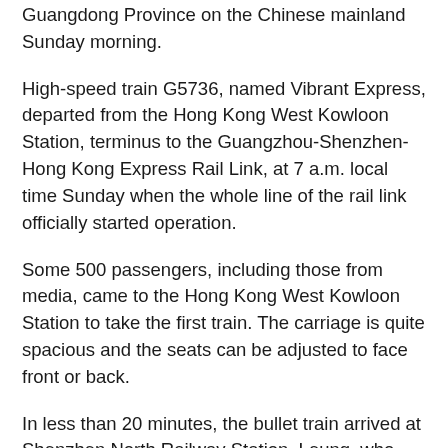Guangdong Province on the Chinese mainland Sunday morning.
High-speed train G5736, named Vibrant Express, departed from the Hong Kong West Kowloon Station, terminus to the Guangzhou-Shenzhen-Hong Kong Express Rail Link, at 7 a.m. local time Sunday when the whole line of the rail link officially started operation.
Some 500 passengers, including those from media, came to the Hong Kong West Kowloon Station to take the first train. The carriage is quite spacious and the seats can be adjusted to face front or back.
In less than 20 minutes, the bullet train arrived at Shenzhen North Railway Station. Leung, who could not wait for his next ride, told the reporters that he was so excited for this historic moment that he needf or theuments of China...